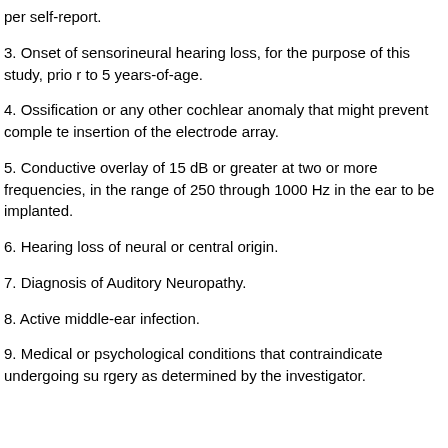per self-report.
3. Onset of sensorineural hearing loss, for the purpose of this study, prior to 5 years-of-age.
4. Ossification or any other cochlear anomaly that might prevent complete insertion of the electrode array.
5. Conductive overlay of 15 dB or greater at two or more frequencies, in the range of 250 through 1000 Hz in the ear to be implanted.
6. Hearing loss of neural or central origin.
7. Diagnosis of Auditory Neuropathy.
8. Active middle-ear infection.
9. Medical or psychological conditions that contraindicate undergoing surgery as determined by the investigator.